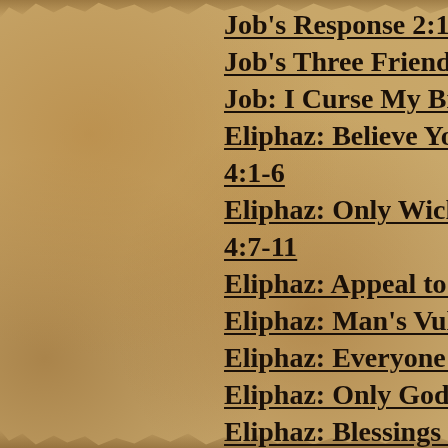Job's Response  2:10
Job's Three Friends  2:1
Job: I Curse My Birth
Eliphaz: Believe Your C
4:1-6
Eliphaz: Only Wicked T
4:7-11
Eliphaz: Appeal to Mys
Eliphaz: Man's Vulnerab
Eliphaz: Everyone has T
Eliphaz: Only God Kno
Eliphaz: Blessings Follo